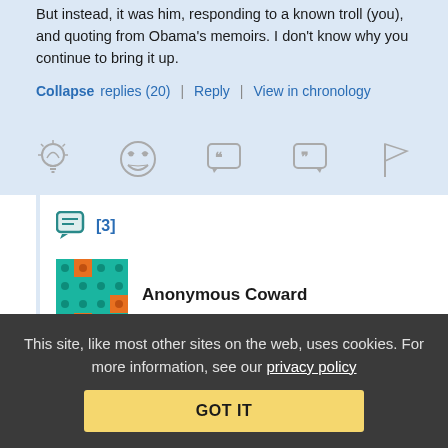But instead, it was him, responding to a known troll (you), and quoting from Obama's memoirs. I don't know why you continue to bring it up.
Collapse replies (20) | Reply | View in chronology
[Figure (infographic): Row of five gray icons: lightbulb, laughing face emoji, speech bubble with quotes, speech bubble with quotes, flag]
[Figure (infographic): Chat icon with [3] badge in teal/blue]
[Figure (infographic): Anonymous Coward avatar: teal geometric pixel pattern]
Anonymous Coward
September 1, 2017 at 3:17 pm
This site, like most other sites on the web, uses cookies. For more information, see our privacy policy
GOT IT